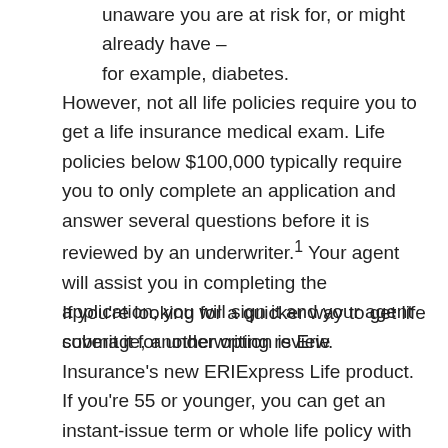unaware you are at risk for, or might already have – for example, diabetes.
However, not all life policies require you to get a life insurance medical exam. Life policies below $100,000 typically require you to only complete an application and answer several questions before it is reviewed by an underwriter.¹ Your agent will assist you in completing the application, you will sign it and your agent submit it for underwriting review.
If you're looking for a quicker way to get life coverage, another option is Erie Insurance's new ERIExpress Life product. If you're 55 or younger, you can get an instant-issue term or whole life policy with up to $500,000 in coverage by answering several application questions